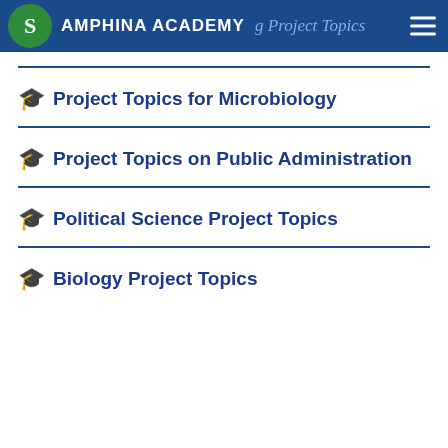Samphina Academy — Project Topics
Project Topics for Microbiology
Project Topics on Public Administration
Political Science Project Topics
Biology Project Topics